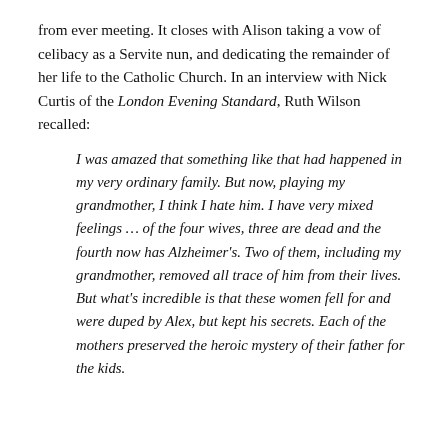from ever meeting. It closes with Alison taking a vow of celibacy as a Servite nun, and dedicating the remainder of her life to the Catholic Church. In an interview with Nick Curtis of the London Evening Standard, Ruth Wilson recalled:
I was amazed that something like that had happened in my very ordinary family. But now, playing my grandmother, I think I hate him. I have very mixed feelings … of the four wives, three are dead and the fourth now has Alzheimer's. Two of them, including my grandmother, removed all trace of him from their lives. But what's incredible is that these women fell for and were duped by Alex, but kept his secrets. Each of the mothers preserved the heroic mystery of their father for the kids.